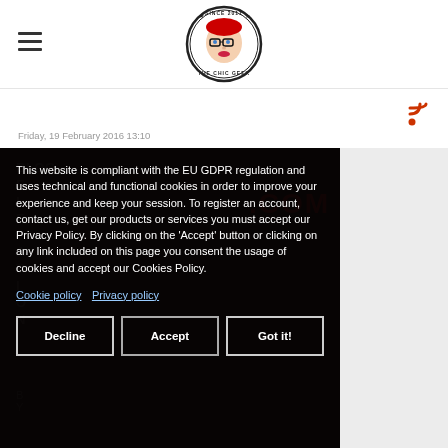[Figure (logo): The Chic Geek circular logo with illustrated face wearing glasses, red hair, stars and text 'SINCE 2011' and 'THE CHIC GEEK' around border]
Friday, 19 February 2016 13:10
This website is compliant with the EU GDPR regulation and uses technical and functional cookies in order to improve your experience and keep your session. To register an account, contact us, get our products or services you must accept our Privacy Policy. By clicking on the 'Accept' button or clicking on any link included on this page you consent the usage of cookies and accept our Cookies Policy. Cookie policy  Privacy policy
Decline
Accept
Got it!